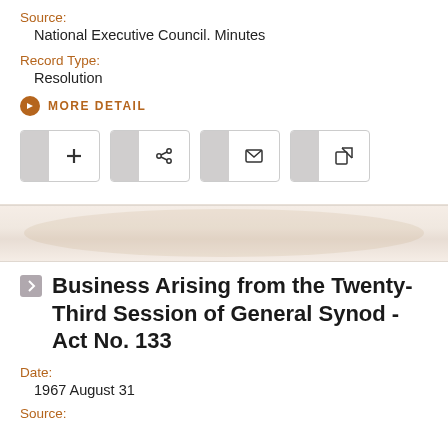Source:
National Executive Council. Minutes
Record Type:
Resolution
MORE DETAIL
Business Arising from the Twenty-Third Session of General Synod - Act No. 133
Date:
1967 August 31
Source: